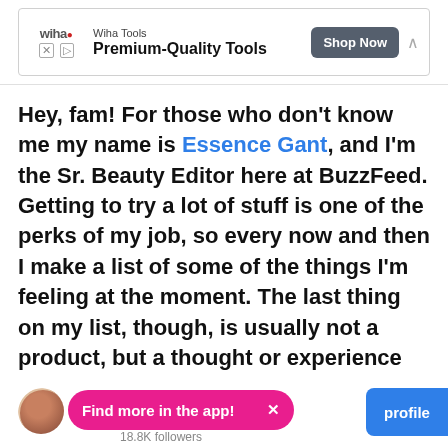[Figure (screenshot): Advertisement banner for Wiha Tools showing logo, tagline 'Premium-Quality Tools', and 'Shop Now' button]
Hey, fam! For those who don't know me my name is Essence Gant, and I'm the Sr. Beauty Editor here at BuzzFeed. Getting to try a lot of stuff is one of the perks of my job, so every now and then I make a list of some of the things I'm feeling at the moment. The last thing on my list, though, is usually not a product, but a thought or experience that I feel like yapping about.
[Figure (screenshot): App promotion bar showing avatar, 'Find more in the app!' pill button with X, followers count 18.8K, and blue profile button]